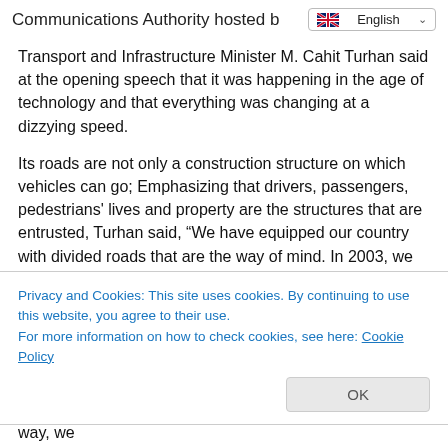Communications Authority hosted b
Transport and Infrastructure Minister M. Cahit Turhan said at the opening speech that it was happening in the age of technology and that everything was changing at a dizzying speed.
Its roads are not only a construction structure on which vehicles can go; Emphasizing that drivers, passengers, pedestrians' lives and property are the structures that are entrusted, Turhan said, “We have equipped our country with divided roads that are the way of mind. In 2003, we added an additional 6 thousand 101 kilometers above the 21 thousand
Privacy and Cookies: This site uses cookies. By continuing to use this website, you agree to their use.
For more information on how to check cookies, see here: Cookie Policy
traffic has become travelable on divided roads. In this way, we